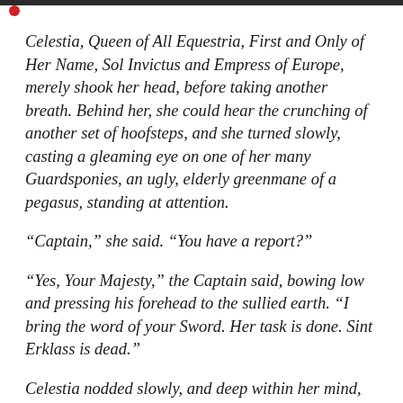Celestia, Queen of All Equestria, First and Only of Her Name, Sol Invictus and Empress of Europe, merely shook her head, before taking another breath. Behind her, she could hear the crunching of another set of hoofsteps, and she turned slowly, casting a gleaming eye on one of her many Guardsponies, an ugly, elderly greenmane of a pegasus, standing at attention.
“Captain,” she said. “You have a report?”
“Yes, Your Majesty,” the Captain said, bowing low and pressing his forehead to the sullied earth. “I bring the word of your Sword. Her task is done. Sint Erklass is dead.”
Celestia nodded slowly, and deep within her mind, felt a touch of relief that her own presence had not been required to deal the final blow. That, would have been… too much, no